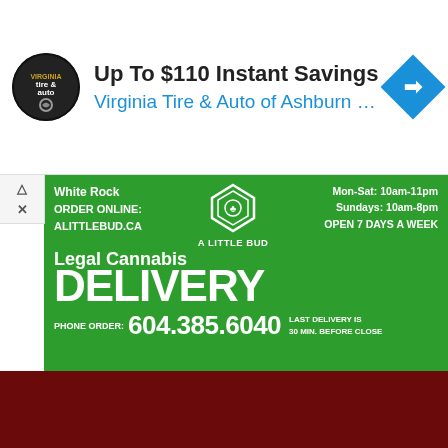[Figure (infographic): Advertisement banner for Virginia Tire & Auto of Ashburn with circular logo, headline 'Up To $110 Instant Savings', subtext 'Virginia Tire & Auto of Ashburn ...', and a blue diamond directional arrow icon on the right.]
[Figure (infographic): Green background cannabis delivery advertisement for 'A Little Bud' in White Rock. Shows diamond logo, business hours Mon-Sat 10am-11pm, Sundays 10am-8pm, Open 7 Days a Week. Order online at alittlebud.ca. Large text: 'Legal Cannabis DELIVERY'. Phone order: 604.385.6040. Last delivery is 30 min. before close.]
[Figure (photo): Dark red/maroon background section at the bottom of the page, partially showing what appears to be a person.]